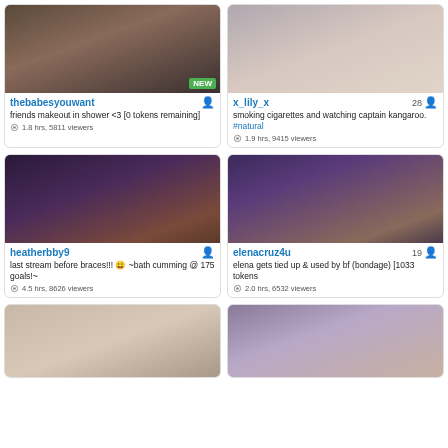[Figure (photo): Livestream thumbnail for thebabesyouwant with NEW badge]
thebabesyouwant
friends makeout in shower <3 [0 tokens remaining]
1.8 hrs, 5811 viewers
[Figure (photo): Livestream thumbnail for x_lily_x]
x_lily_x 28
smoking cigarettes and watching captain kangaroo. #natural
1.9 hrs, 9415 viewers
[Figure (photo): Livestream thumbnail for heatherbby9]
heatherbby9
last stream before braces!!! 😀 ~bath cumming @ 175 goals!~
4.5 hrs, 8626 viewers
[Figure (photo): Livestream thumbnail for elenacruz4u]
elenacruz4u 19
elena gets tied up & used by bf (bondage) [1033 tokens
2.0 hrs, 6532 viewers
[Figure (photo): Livestream thumbnail, bottom left]
[Figure (photo): Livestream thumbnail, bottom right]